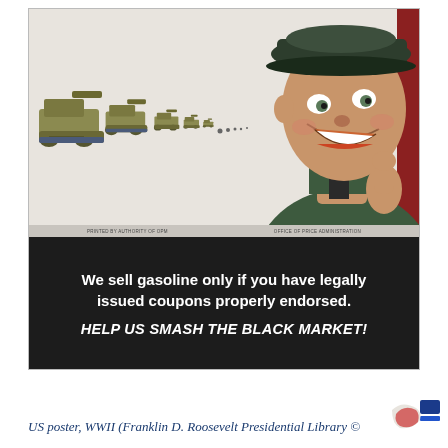[Figure (photo): WWII US government poster showing a smiling soldier in military uniform and cap giving a thumbs-up gesture, with a line of tanks (large to small, suggesting depth/perspective) on the left side. Below is a dark banner with white text reading 'We sell gasoline only if you have legally issued coupons properly endorsed. HELP US SMASH THE BLACK MARKET!']
US poster, WWII (Franklin D. Roosevelt Presidential Library ©